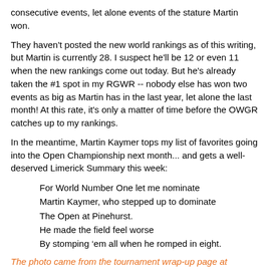consecutive events, let alone events of the stature Martin won.
They haven't posted the new world rankings as of this writing, but Martin is currently 28. I suspect he'll be 12 or even 11 when the new rankings come out today. But he's already taken the #1 spot in my RGWR -- nobody else has won two events as big as Martin has in the last year, let alone the last month! At this rate, it's only a matter of time before the OWGR catches up to my rankings.
In the meantime, Martin Kaymer tops my list of favorites going into the Open Championship next month... and gets a well-deserved Limerick Summary this week:
For World Number One let me nominate
Martin Kaymer, who stepped up to dominate
The Open at Pinehurst.
He made the field feel worse
By stomping ‘em all when he romped in eight.
The photo came from the tournament wrap-up page at PGATOUR.com.